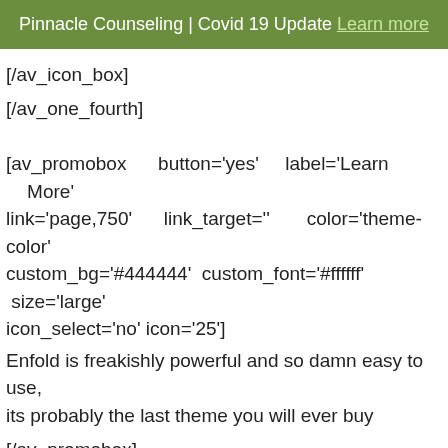Pinnacle Counseling | Covid 19 Update Learn more
[/av_icon_box]
[/av_one_fourth]
[av_promobox button='yes' label='Learn More' link='page,750' link_target='' color='theme-color' custom_bg='#444444' custom_font='#ffffff' size='large' icon_select='no' icon='25']
Enfold is freakishly powerful and so damn easy to use, its probably the last theme you will ever buy
[/av_promobox]
[av_three_fourth first]